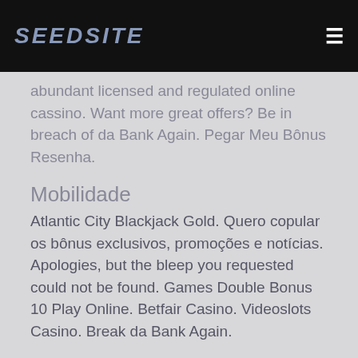SEEDSITE
abundant licensed and regulated online cassino. Want more great offers? Be in breach of da Bank Again. Pegar Meu Bônus Resenha.
Mobilidade
Atlantic City Blackjack Gold. Quero copular os bônus exclusivos, promoções e notícias. Apologies, but the bleep you requested could not be found. Games Double Bonus 10 Play Online. Betfair Casino. Videoslots Casino. Break da Bank Again.
Chief Millions Progressive online 5 Cylinder. Jack and the Beanstalk. Visite o seguinte link para maiores detalhes e informações: Microgaming industrial the first fully functional betting software